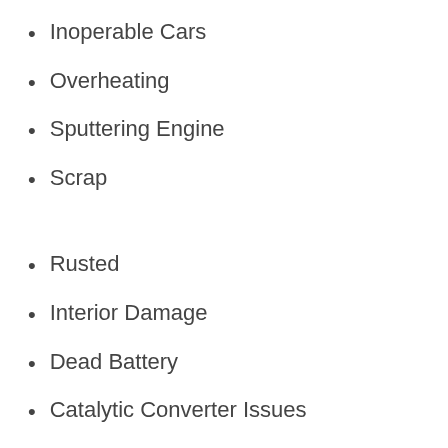Inoperable Cars
Overheating
Sputtering Engine
Scrap
Rusted
Interior Damage
Dead Battery
Catalytic Converter Issues